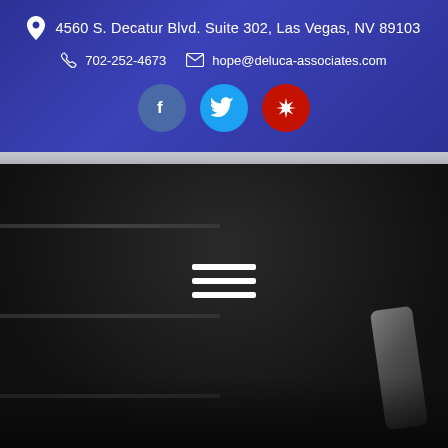4560 S. Decatur Blvd. Suite 302, Las Vegas, NV 89103
702-252-4673
hope@deluca-associates.com
[Figure (screenshot): Three social media icons: Facebook (blue circle with f), Twitter (light blue circle with bird), Yelp (red circle with star burst)]
[Figure (photo): Dark background photo of what appears to be shelving or office interior, with a hamburger menu icon (three white horizontal lines) overlaid in the center, and a device shape visible in the lower right corner]